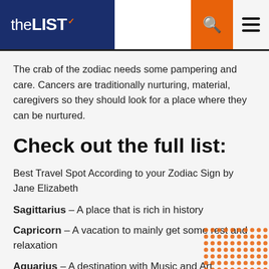theLIST
The crab of the zodiac needs some pampering and care. Cancers are traditionally nurturing, material, caregivers so they should look for a place where they can be nurtured.
Check out the full list:
Best Travel Spot According to your Zodiac Sign by Jane Elizabeth
Sagittarius – A place that is rich in history
Capricorn – A vacation to mainly get some rest and relaxation
Aquarius – A destination with Music and Art
Pisces – A trip filled with great food and a